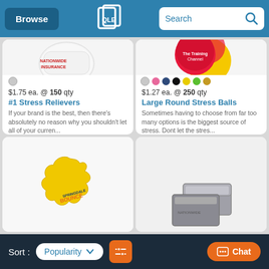Browse | Search
[Figure (photo): White stress reliever shaped product with Nationwide Insurance logo printed on it, with a gray color dot swatch below]
$1.75 ea. @ 150 qty
#1 Stress Relievers
If your brand is the best, then there's absolutely no reason why you shouldn't let all of your curren...
[Figure (photo): Colorful round stress balls in red, pink and yellow, with color swatches: gray, pink, navy, black, yellow, green, gold]
$1.27 ea. @ 250 qty
Large Round Stress Balls
Sometimes having to choose from far too many options is the biggest source of stress. Dont let the stres...
[Figure (photo): Yellow star/splash shaped stress reliever with Springdale imprint]
[Figure (photo): Gray plastic card holder/business card case product]
Sort: Popularity  [filter icon]  Chat